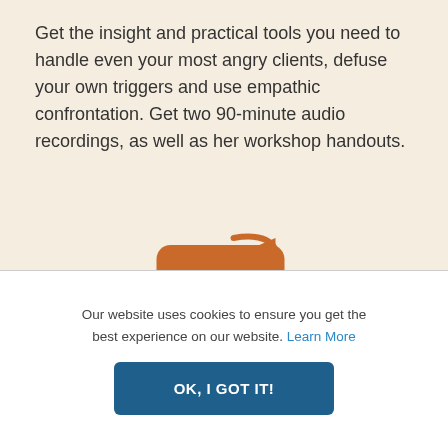Get the insight and practical tools you need to handle even your most angry clients, defuse your own triggers and use empathic confrontation. Get two 90-minute audio recordings, as well as her workshop handouts.
[Figure (illustration): Orange rounded-square badge with a curved arrow on the top-right corner, containing the text BONUS in white bold caps and a large white numeral 2 below it.]
FREE Networker Magazine Article
Our website uses cookies to ensure you get the best experience on our website. Learn More
OK, I GOT IT!